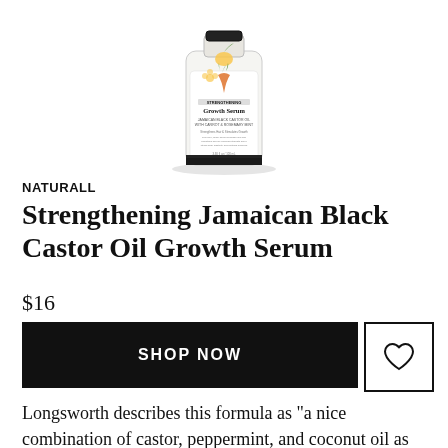[Figure (photo): Product photo of Naturall Growth Serum bottle with botanical illustration label featuring a carrot and flower design on white background]
NATURALL
Strengthening Jamaican Black Castor Oil Growth Serum
$16
SHOP NOW
Longsworth describes this formula as "a nice combination of castor, peppermint, and coconut oil as well as rosemary and vitamin E." In addition to